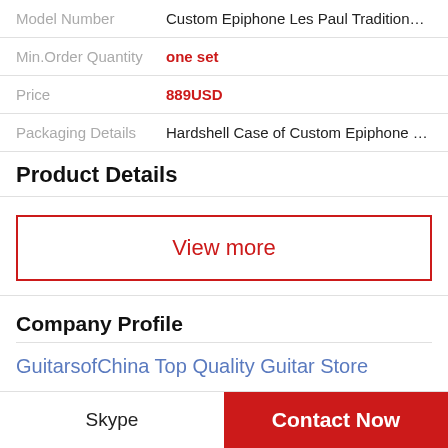| Model Number | Custom Epiphone Les Paul Traditional P… |
| Min.Order Quantity | one set |
| Price | 889USD |
| Packaging Details | Hardshell Case of Custom Epiphone Les … |
Product Details
View more
Company Profile
GuitarsofChina Top Quality Guitar Store
Skype | Contact Now